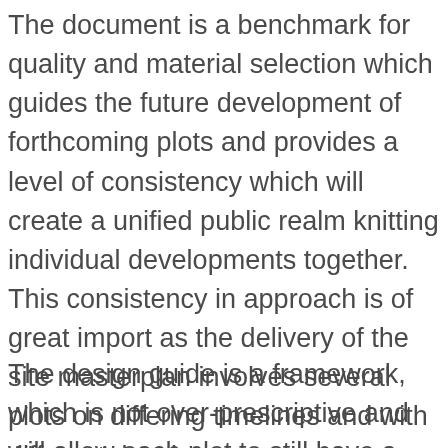The document is a benchmark for quality and material selection which guides the future development of forthcoming plots and provides a level of consistency which will create a unified public realm knitting individual developments together. This consistency in approach is of great import as the delivery of the site masterplan involves several plots on differing timelines and with different developers
The design guide is a framework, which is not over-prescriptive and will allow each plot to still have a sense of uniqueness. However, there will be a seamless transition between plot boundaries. The concept of character areas